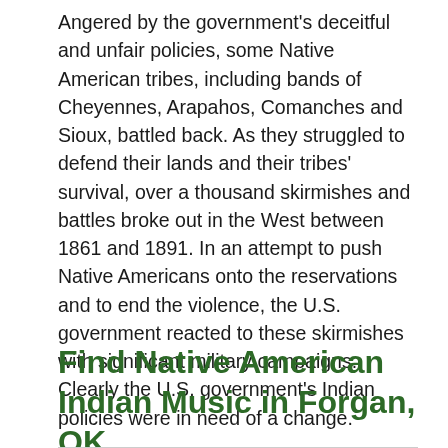Angered by the government's deceitful and unfair policies, some Native American tribes, including bands of Cheyennes, Arapahos, Comanches and Sioux, battled back. As they struggled to defend their lands and their tribes' survival, over a thousand skirmishes and battles broke out in the West between 1861 and 1891. In an attempt to push Native Americans onto the reservations and to end the violence, the U.S. government reacted to these skirmishes with significant military campaigns. Clearly the U.S. government's Indian policies were in need of a change.
Find Native American Indian Music in Forgan, OK